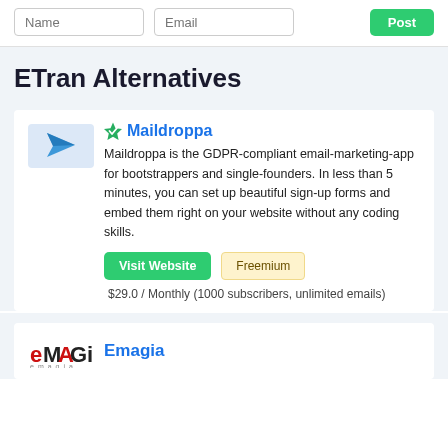[Figure (screenshot): Top bar with Name and Email input fields and a green Post button]
ETran Alternatives
[Figure (logo): Maildroppa logo — blue telegram-style paper plane icon with blurred text]
Maildroppa
Maildroppa is the GDPR-compliant email-marketing-app for bootstrappers and single-founders. In less than 5 minutes, you can set up beautiful sign-up forms and embed them right on your website without any coding skills.
$29.0 / Monthly (1000 subscribers, unlimited emails)
[Figure (logo): Emagia logo in red and black stylized text]
Emagia